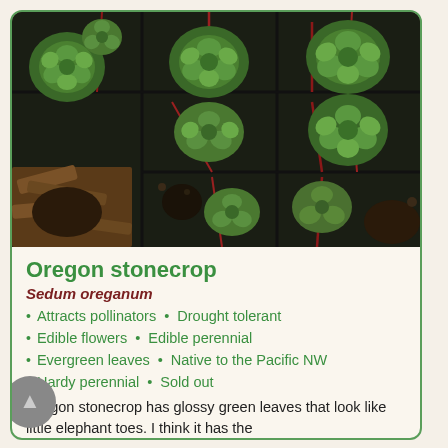[Figure (photo): Close-up photograph of Oregon stonecrop (Sedum oreganum) succulent plants in small black nursery trays, showing multiple rosettes of glossy green fleshy leaves with reddish stems, set against a background with wood chips.]
Oregon stonecrop
Sedum oreganum
Attracts pollinators • Drought tolerant
Edible flowers • Edible perennial
Evergreen leaves • Native to the Pacific NW
Hardy perennial • Sold out
Oregon stonecrop has glossy green leaves that look like little elephant toes. I think it has the